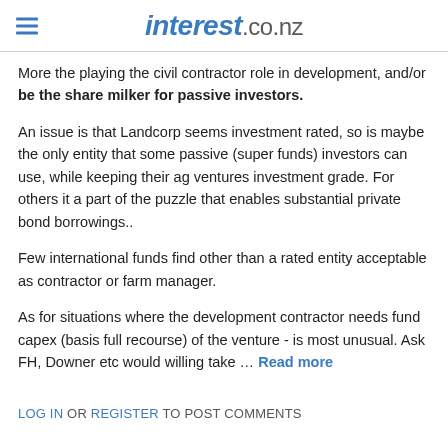interest.co.nz
More the playing the civil contractor role in development, and/or be the share milker for passive investors.
An issue is that Landcorp seems investment rated, so is maybe the only entity that some passive (super funds) investors can use, while keeping their ag ventures investment grade. For others it a part of the puzzle that enables substantial private bond borrowings..
Few international funds find other than a rated entity acceptable as contractor or farm manager.
As for situations where the development contractor needs fund capex (basis full recourse) of the venture - is most unusual. Ask FH, Downer etc would willing take … Read more
LOG IN OR REGISTER TO POST COMMENTS